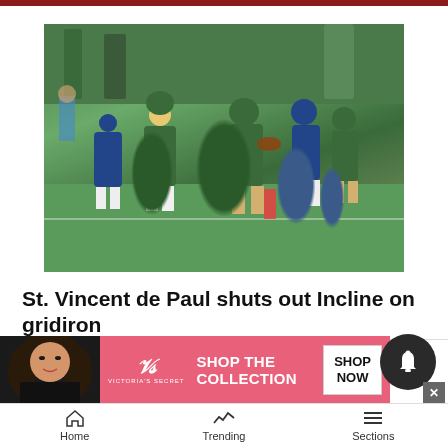[Figure (photo): Football game action photo showing players in green uniforms (home team) running with the ball against players in blue uniforms, on a grass field]
St. Vincent de Paul shuts out Incline on gridiron
2d ago
[Figure (photo): Victoria's Secret advertisement banner showing a woman's face with curly hair, Victoria's Secret logo, SHOP THE COLLECTION text, and SHOP NOW button]
Rest
Septe